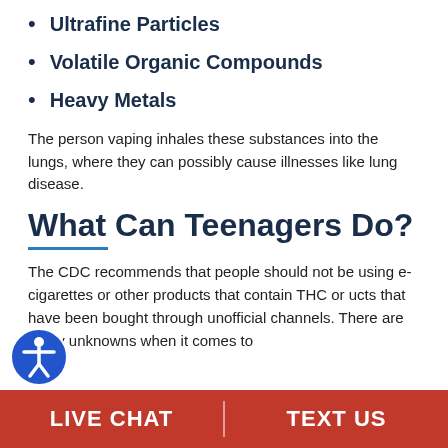Ultrafine Particles
Volatile Organic Compounds
Heavy Metals
The person vaping inhales these substances into the lungs, where they can possibly cause illnesses like lung disease.
What Can Teenagers Do?
The CDC recommends that people should not be using e-cigarettes or other products that contain THC or ucts that have been bought through unofficial channels. There are many unknowns when it comes to
LIVE CHAT   TEXT US